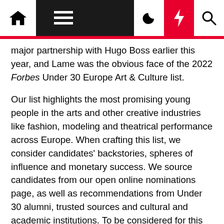Navigation bar with home, menu, dark mode, breaking news, and search icons
major partnership with Hugo Boss earlier this year, and Lame was the obvious face of the 2022 Forbes Under 30 Europe Art & Culture list.
Our list highlights the most promising young people in the arts and other creative industries like fashion, modeling and theatrical performance across Europe. When crafting this list, we consider candidates' backstories, spheres of influence and monetary success. We source candidates from our open online nominations page, as well as recommendations from Under 30 alumni, trusted sources and cultural and academic institutions. To be considered for this year's list, all candidates had to be under the age of 30 as of May 3, 2022, and never before named to a 30 Under 30 list.
Candidates were then evaluated by a panel of